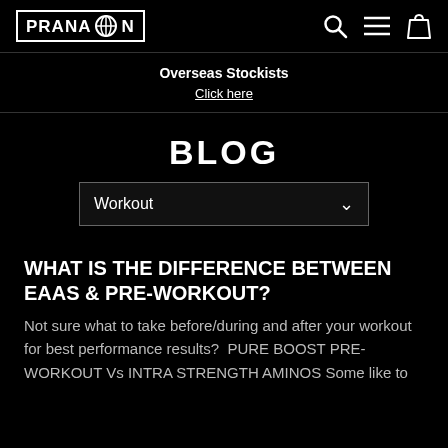PRANA ON — navigation bar with logo, search, menu, and cart icons
Overseas Stockists
Click here
BLOG
Workout
WHAT IS THE DIFFERENCE BETWEEN EAAS & PRE-WORKOUT?
Not sure what to take before/during and after your workout for best performance results?  PURE BOOST PRE-WORKOUT Vs INTRA STRENGTH AMINOS Some like to